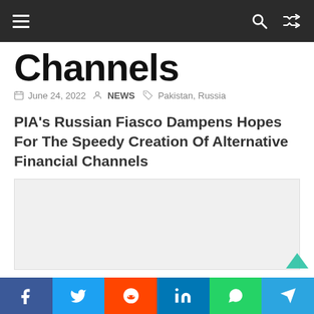Navigation bar with hamburger menu, search and shuffle icons
Channels
June 24, 2022  NEWS  Pakistan, Russia
PIA's Russian Fiasco Dampens Hopes For The Speedy Creation Of Alternative Financial Channels
[Figure (other): Advertisement placeholder box]
Social share bar: Facebook, Twitter, Reddit, LinkedIn, WhatsApp, Telegram